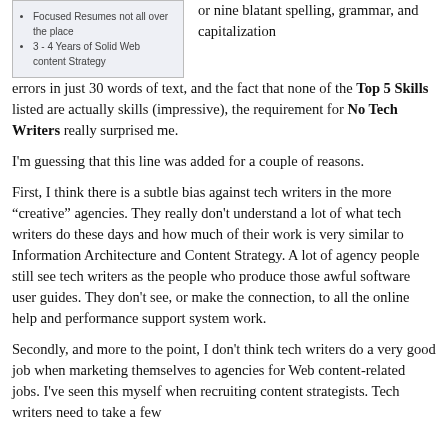[Figure (screenshot): A screenshot or image snippet showing a list with bullet points: 'Focused Resumes not all over the place' and '3-4 Years of Solid Web content Strategy']
or nine blatant spelling, grammar, and capitalization errors in just 30 words of text, and the fact that none of the Top 5 Skills listed are actually skills (impressive), the requirement for No Tech Writers really surprised me.
I'm guessing that this line was added for a couple of reasons.
First, I think there is a subtle bias against tech writers in the more "creative" agencies. They really don't understand a lot of what tech writers do these days and how much of their work is very similar to Information Architecture and Content Strategy. A lot of agency people still see tech writers as the people who produce those awful software user guides. They don't see, or make the connection, to all the online help and performance support system work.
Secondly, and more to the point, I don't think tech writers do a very good job when marketing themselves to agencies for Web content-related jobs. I've seen this myself when recruiting content strategists. Tech writers need to take a few